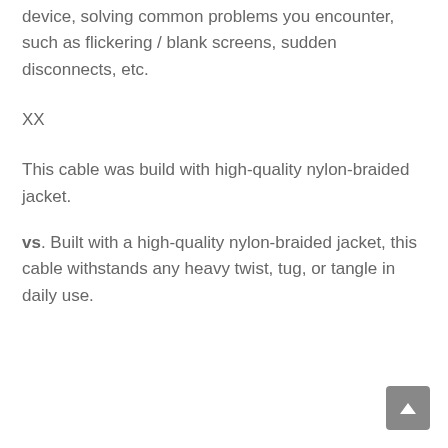device, solving common problems you encounter, such as flickering / blank screens, sudden disconnects, etc.
XX
This cable was build with high-quality nylon-braided jacket.
vs. Built with a high-quality nylon-braided jacket, this cable withstands any heavy twist, tug, or tangle in daily use.